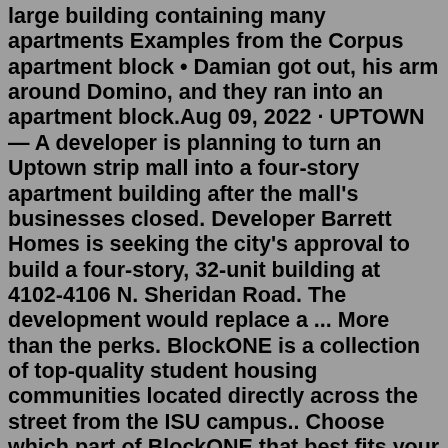large building containing many apartments Examples from the Corpus apartment block • Damian got out, his arm around Domino, and they ran into an apartment block.Aug 09, 2022 · UPTOWN — A developer is planning to turn an Uptown strip mall into a four-story apartment building after the mall's businesses closed. Developer Barrett Homes is seeking the city's approval to build a four-story, 32-unit building at 4102-4106 N. Sheridan Road. The development would replace a ... More than the perks. BlockONE is a collection of top-quality student housing communities located directly across the street from the ISU campus.. Choose which part of BlockONE that best fits your style: 23Twenty Lincoln, The Edge or University Towers. 3 bedroom block of apartments for sale 21, 23 & 25 Beverley Road, HU3 1XH Tenure: Freehold Nearest station 0.4mi. 3 - OnTheMarket < 7 days Marketed by Dee Atkinson & Harrison - Beverley 01482 763974 Email agent Auction What makes your dream home? Build your Wish List Offers in region of £440,000Apartment